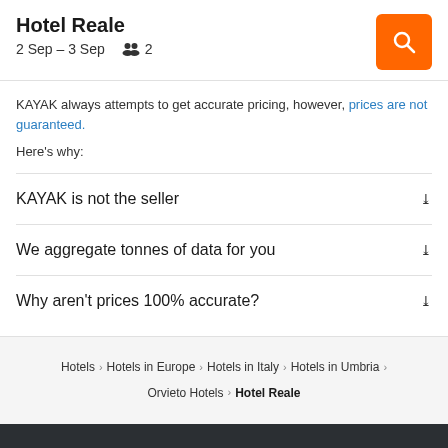Hotel Reale
2 Sep – 3 Sep  👥 2
KAYAK always attempts to get accurate pricing, however, prices are not guaranteed.
Here's why:
KAYAK is not the seller
We aggregate tonnes of data for you
Why aren't prices 100% accurate?
Hotels > Hotels in Europe > Hotels in Italy > Hotels in Umbria > Orvieto Hotels > Hotel Reale